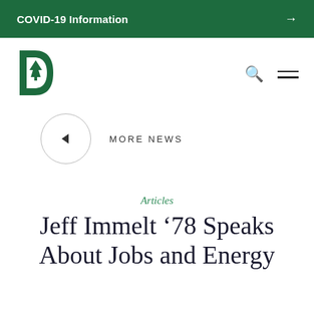COVID-19 Information →
[Figure (logo): Dartmouth College green 'D' logo with pine tree]
MORE NEWS
Articles
Jeff Immelt '78 Speaks About Jobs and Energy at Dartmouth